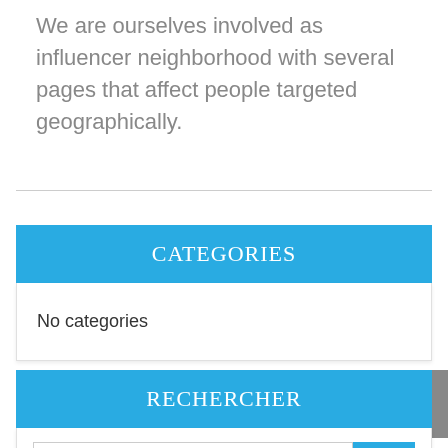We are ourselves involved as influencer neighborhood with several pages that affect people targeted geographically.
CATEGORIES
No categories
RECHERCHER
What do you want to find?